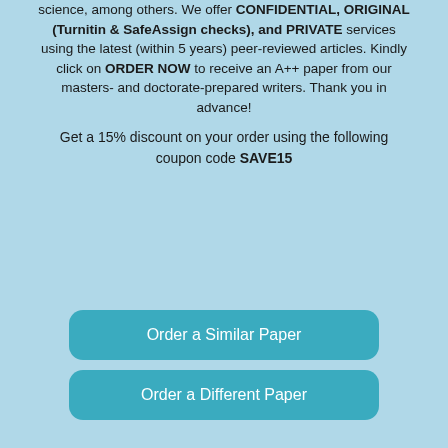science, among others. We offer CONFIDENTIAL, ORIGINAL (Turnitin & SafeAssign checks), and PRIVATE services using the latest (within 5 years) peer-reviewed articles. Kindly click on ORDER NOW to receive an A++ paper from our masters- and doctorate-prepared writers. Thank you in advance!
Get a 15% discount on your order using the following coupon code SAVE15
Order a Similar Paper
Order a Different Paper